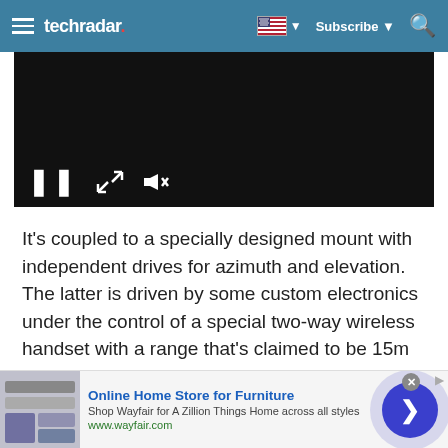techradar — Subscribe
[Figure (screenshot): Video player with dark background showing pause, expand, and mute controls at bottom left]
It's coupled to a specially designed mount with independent drives for azimuth and elevation. The latter is driven by some custom electronics under the control of a special two-way wireless handset with a range that's claimed to be 15m (DiSEqC, alas, doesn't
[Figure (other): Advertisement banner: Online Home Store for Furniture — Shop Wayfair for A Zillion Things Home across all styles, www.wayfair.com, with a blue circular arrow button and furniture image]